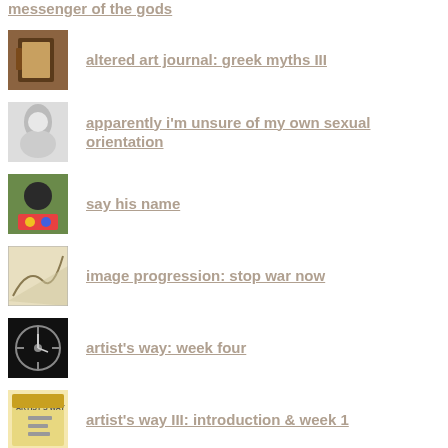messenger of the gods
altered art journal: greek myths III
apparently i'm unsure of my own sexual orientation
say his name
image progression: stop war now
artist's way: week four
artist's way III: introduction & week 1
Recent Posts: